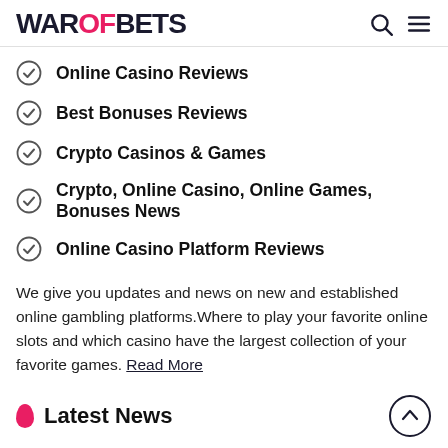WAROFBETS
Online Casino Reviews
Best Bonuses Reviews
Crypto Casinos & Games
Crypto, Online Casino, Online Games, Bonuses News
Online Casino Platform Reviews
We give you updates and news on new and established online gambling platforms.Where to play your favorite online slots and which casino have the largest collection of your favorite games. Read More
Latest News